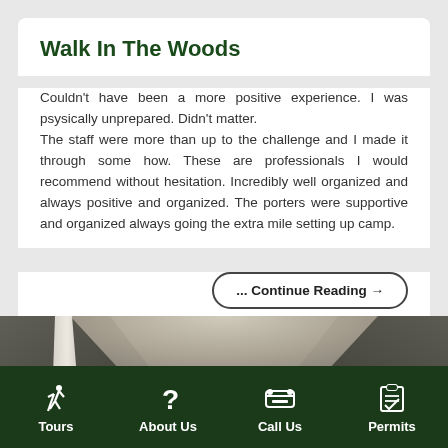Walk In The Woods
Couldn't have been a more positive experience. I was psysically unprepared. Didn't matter.
The staff were more than up to the challenge and I made it through some how. These are professionals I would recommend without hesitation. Incredibly well organized and always positive and organized. The porters were supportive and organized always going the extra mile setting up camp.
... Continue Reading →
[Figure (photo): Interior view of a tent with a white center pole, dark tent fabric on the sides, light-colored ceiling, and people visible at the bottom]
Tours | About Us | Call Us | Permits